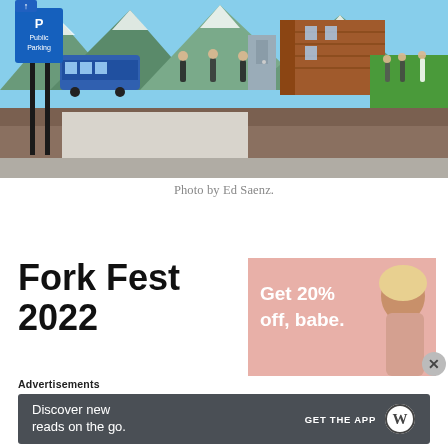[Figure (photo): Street-level photo of a city sidewalk with a large colorful mural painted on a building wall. The mural depicts mountain landscapes, historical figures walking, and a brick building scene. A blue Public Parking sign with a 'P' and up arrow is visible on a pole on the left side.]
Photo by Ed Saenz.
Fork Fest 2022
[Figure (photo): Advertisement banner with pink/rose background showing a blonde woman and text 'Get 20% off, babe.' with a close button.]
Advertisements
[Figure (screenshot): Dark gray advertisement banner reading 'Discover new reads on the go.' with a 'GET THE APP' button and WordPress logo.]